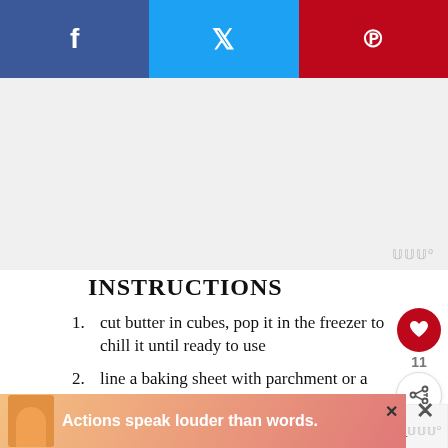[Figure (screenshot): Social sharing bar with Facebook (blue), Twitter (light blue), and Pinterest (red) buttons]
[Figure (screenshot): Advertisement placeholder area with watermark logo]
INSTRUCTIONS
cut butter in cubes, pop it in the freezer to chill it until ready to use
line a baking sheet with parchment or a silicone sheet
in a large mixing bowl whisk together the flour, brown sugar, baking powder, salt, and spice mix
[Figure (screenshot): Bottom advertisement banner: Actions speak louder than words.]